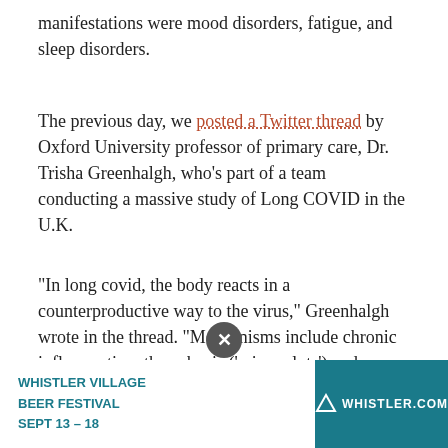manifestations were mood disorders, fatigue, and sleep disorders.
The previous day, we posted a Twitter thread by Oxford University professor of primary care, Dr. Trisha Greenhalgh, who's part of a team conducting a massive study of Long COVID in the U.K.
"In long covid, the body reacts in a counterproductive way to the virus," Greenhalgh wrote in the thread. "Mechanisms include chronic inflammation, thrombosis ('micro clots') and endothelial damage. This impacts various organs—e,g, autonomic nervous system."
Earlier this year, the journal Nature reported on a huge study that showed "a long-term, substantial rise in risk of cardiovascular disease, including heart attack and stroke, after
[Figure (screenshot): Advertisement banner for Whistler Village Beer Festival Sept 13-18 on whistler.com, with a close button (X) above it.]